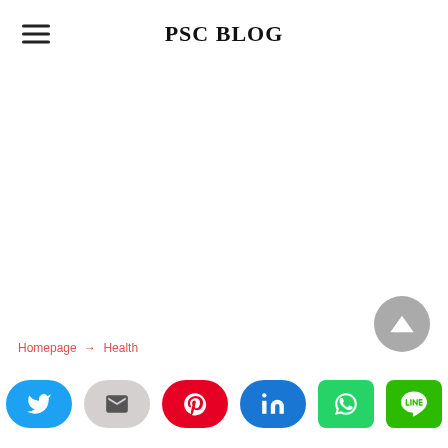PSC BLOG
[Figure (screenshot): Blank white content area of a blog page]
Homepage → Health
[Figure (other): Social share buttons row: Twitter, Email, Pinterest, LinkedIn, WhatsApp, LINE]